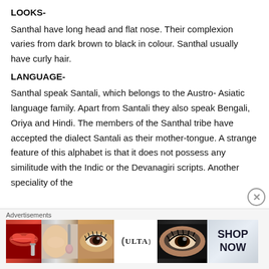LOOKS-
Santhal have long head and flat nose. Their complexion varies from dark brown to black in colour. Santhal usually have curly hair.
LANGUAGE-
Santhal speak Santali, which belongs to the Austro- Asiatic language family. Apart from Santali they also speak Bengali, Oriya and Hindi. The members of the Santhal tribe have accepted the dialect Santali as their mother-tongue. A strange feature of this alphabet is that it does not possess any similitude with the Indic or the Devanagiri scripts. Another speciality of the
Advertisements
[Figure (photo): Advertisement banner for ULTA beauty products showing cosmetic imagery including lips, makeup brush, eyes, ULTA logo, and a SHOP NOW call to action]